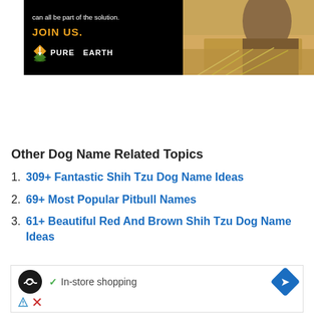[Figure (photo): Advertisement banner for Pure Earth organization on black background with orange 'JOIN US.' text and their logo, alongside a photo of a person working with straw/hay material.]
Other Dog Name Related Topics
309+ Fantastic Shih Tzu Dog Name Ideas
69+ Most Popular Pitbull Names
61+ Beautiful Red And Brown Shih Tzu Dog Name Ideas
[Figure (screenshot): Google ad unit showing an infinity-loop icon, checkmark with 'In-store shopping' text, and a blue diamond arrow icon.]